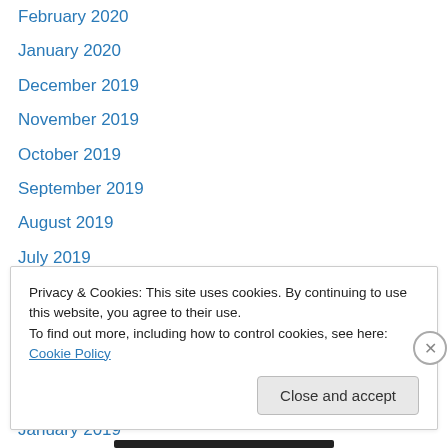February 2020
January 2020
December 2019
November 2019
October 2019
September 2019
August 2019
July 2019
June 2019
May 2019
April 2019
March 2019
January 2019
Privacy & Cookies: This site uses cookies. By continuing to use this website, you agree to their use.
To find out more, including how to control cookies, see here: Cookie Policy